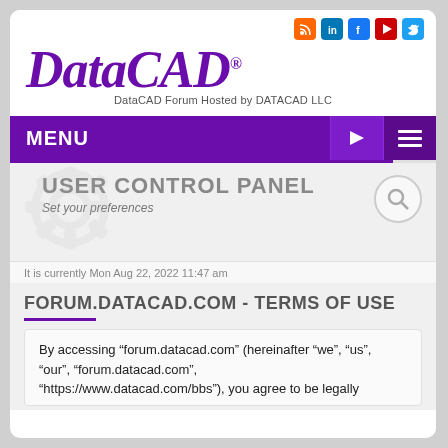[Figure (logo): DataCAD logo in purple italic serif font with registered trademark symbol]
DataCAD Forum Hosted by DATACAD LLC
MENU
USER CONTROL PANEL
Set your preferences
It is currently Mon Aug 22, 2022 11:47 am
FORUM.DATACAD.COM - TERMS OF USE
By accessing “forum.datacad.com” (hereinafter “we”, “us”, “our”, “forum.datacad.com”, “https://www.datacad.com/bbs”), you agree to be legally